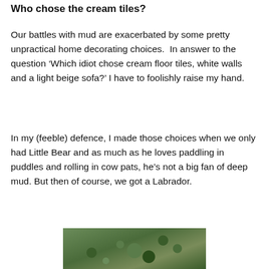Who chose the cream tiles?
Our battles with mud are exacerbated by some pretty unpractical home decorating choices.  In answer to the question ‘Which idiot chose cream floor tiles, white walls and a light beige sofa?’ I have to foolishly raise my hand.
In my (feeble) defence, I made those choices when we only had Little Bear and as much as he loves paddling in puddles and rolling in cow pats, he’s not a big fan of deep mud. But then of course, we got a Labrador.
[Figure (photo): Outdoor photo showing ground covered with grass, moss and small plants, appearing muddy or damp]